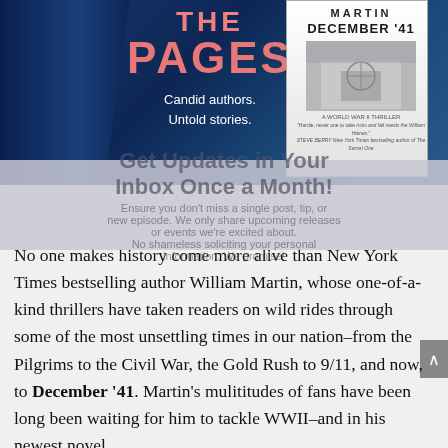[Figure (screenshot): Top banner showing 'THE PAGES – Candid authors. Untold stories.' podcast/show logo with blue curtain background and a book cover for 'December 41' by Martin on the right]
Get Updates in Your Inbox Once a Month!
No one makes history come more alive than New York Times bestselling author William Martin, whose one-of-a-kind thrillers have taken readers on wild rides through some of the most unsettling times in our nation–from the Pilgrims to the Civil War, the Gold Rush to 9/11, and now, to December '41. Martin's mulititudes of fans have been long been waiting for him to tackle WWII–and in his newest novel